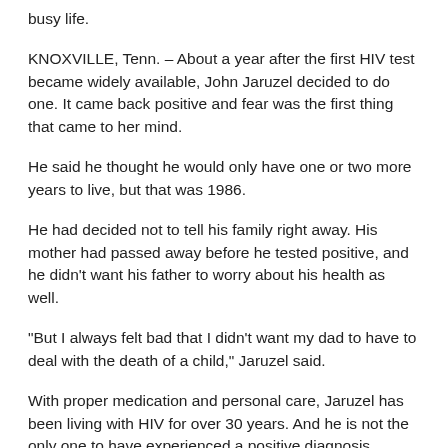busy life.
KNOXVILLE, Tenn. – About a year after the first HIV test became widely available, John Jaruzel decided to do one. It came back positive and fear was the first thing that came to her mind.
He said he thought he would only have one or two more years to live, but that was 1986.
He had decided not to tell his family right away. His mother had passed away before he tested positive, and he didn't want his father to worry about his health as well.
“But I always felt bad that I didn’t want my dad to have to deal with the death of a child,” Jaruzel said.
With proper medication and personal care, Jaruzel has been living with HIV for over 30 years. And he is not the only one to have experienced a positive diagnosis.
The Tennessee Department of Health estimates that approximately